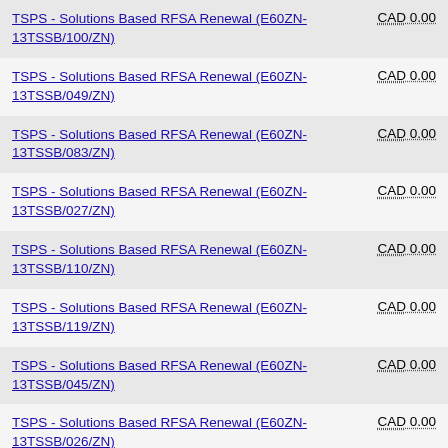| Contract/Agreement | Value |
| --- | --- |
| TSPS - Solutions Based RFSA Renewal (E60ZN-13TSSB/100/ZN) | CAD 0.00 |
| TSPS - Solutions Based RFSA Renewal (E60ZN-13TSSB/049/ZN) | CAD 0.00 |
| TSPS - Solutions Based RFSA Renewal (E60ZN-13TSSB/083/ZN) | CAD 0.00 |
| TSPS - Solutions Based RFSA Renewal (E60ZN-13TSSB/027/ZN) | CAD 0.00 |
| TSPS - Solutions Based RFSA Renewal (E60ZN-13TSSB/110/ZN) | CAD 0.00 |
| TSPS - Solutions Based RFSA Renewal (E60ZN-13TSSB/119/ZN) | CAD 0.00 |
| TSPS - Solutions Based RFSA Renewal (E60ZN-13TSSB/045/ZN) | CAD 0.00 |
| TSPS - Solutions Based RFSA Renewal (E60ZN-13TSSB/026/ZN) | CAD 0.00 |
| TSPS - Solutions Based RFSA Renewal (E60ZN-13TSSB/068/ZN) | CAD 0.00 |